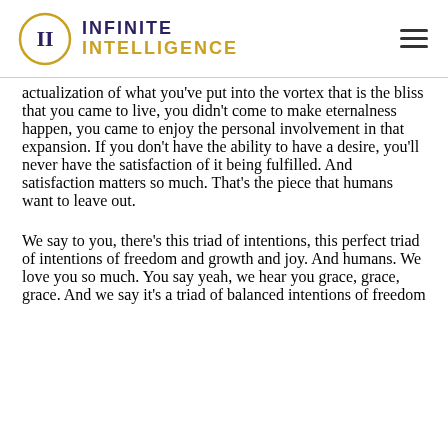INFINITE INTELLIGENCE
actualization of what you've put into the vortex that is the bliss that you came to live, you didn't come to make eternalness happen, you came to enjoy the personal involvement in that expansion. If you don't have the ability to have a desire, you'll never have the satisfaction of it being fulfilled. And satisfaction matters so much. That's the piece that humans want to leave out.
We say to you, there's this triad of intentions, this perfect triad of intentions of freedom and growth and joy. And humans. We love you so much. You say yeah, we hear you grace, grace, grace. And we say it's a triad of balanced intentions of freedom